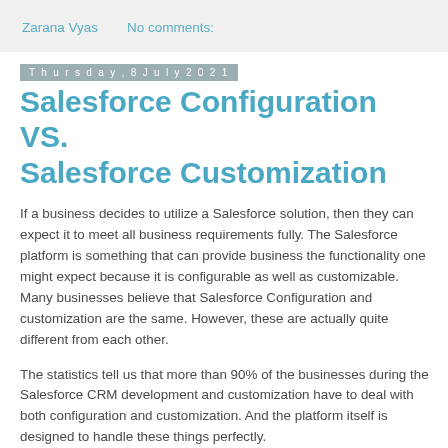Zarana Vyas    No comments:
Thursday, 8 July 2021
Salesforce Configuration VS. Salesforce Customization
If a business decides to utilize a Salesforce solution, then they can expect it to meet all business requirements fully. The Salesforce platform is something that can provide business the functionality one might expect because it is configurable as well as customizable. Many businesses believe that Salesforce Configuration and customization are the same. However, these are actually quite different from each other.
The statistics tell us that more than 90% of the businesses during the Salesforce CRM development and customization have to deal with both configuration and customization. And the platform itself is designed to handle these things perfectly.